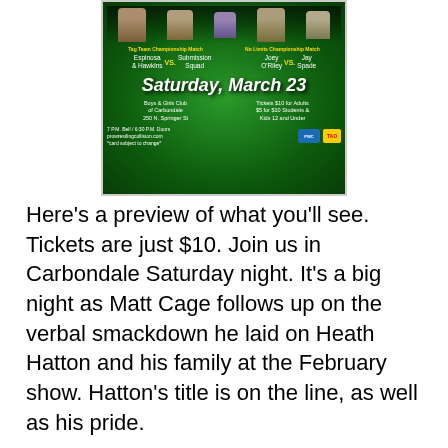[Figure (other): Pro wrestling event poster for Saturday March 23 at Boys and Girls Club of Carbondale, 250 N. Springer St. Tag team championship match: Espinosa & Hawkins vs. Submission Squad. No Limits championship match: Joey O'Riley vs. Jay Spade. Tickets $10 for Adults, $5 for Students & Kids 12 and Under. 7 P.M. Bell / 6:30 P.M. Doors. prowrestlingcollision.com]
Here's a preview of what you'll see.  Tickets are just $10.  Join us in Carbondale Saturday night.  It's a big night as Matt Cage follows up on the verbal smackdown he laid on Heath Hatton and his family at the February show.  Hatton's title is on the line, as well as his pride.
The Submission Squad joins us to challenge tag team champions Ace Hawkins and Brandon Espinosa.  The No Limits Title will be defended Saturday night too, as Joey O'Riley puts the gold up against his friend and former tag team partner, Jay Spade.  This will also be the debut of Spade in Pro Wrestling Collision.
Justice, Shane Rich, El Matadoro, and Ax Allwardt are also